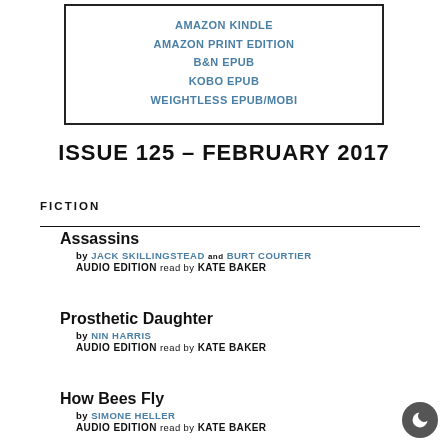AMAZON KINDLE
AMAZON PRINT EDITION
B&N EPUB
KOBO EPUB
WEIGHTLESS EPUB/MOBI
ISSUE 125 – FEBRUARY 2017
FICTION
Assassins
by JACK SKILLINGSTEAD and BURT COURTIER
AUDIO EDITION read by KATE BAKER
Prosthetic Daughter
by NIN HARRIS
AUDIO EDITION read by KATE BAKER
How Bees Fly
by SIMONE HELLER
AUDIO EDITION read by KATE BAKER